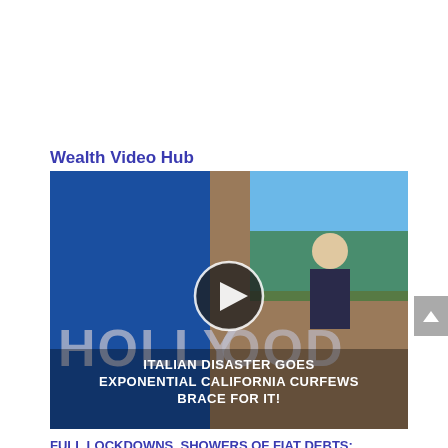Wealth Video Hub
[Figure (screenshot): Video thumbnail showing Hollywood sign with text overlay: ITALIAN DISASTER GOES EXPONENTIAL CALIFORNIA CURFEWS BRACE FOR IT! with a play button in the center.]
FULL LOCKDOWNS, SHOWERS OF FIAT DEBTS: ENTERING THE UNKNOWN!
[Figure (screenshot): Bottom portion of a second video thumbnail showing a person and text TECHNICAL ANALYSIS on dark background.]